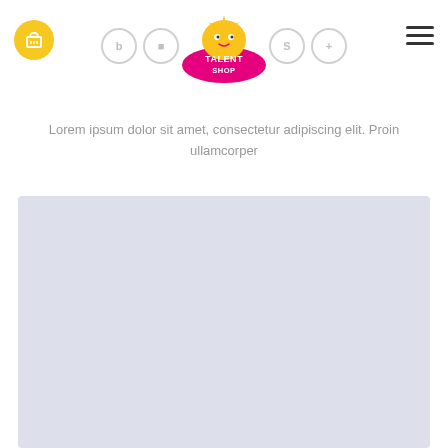[Figure (logo): Talent Shop logo: yellow starfish character with a pink oval background, text 'TALENT SHOP' in white]
Lorem ipsum dolor sit amet, consectetur adipiscing elit. Proin ullamcorper
[Figure (other): Light blue-grey placeholder content area rectangle]